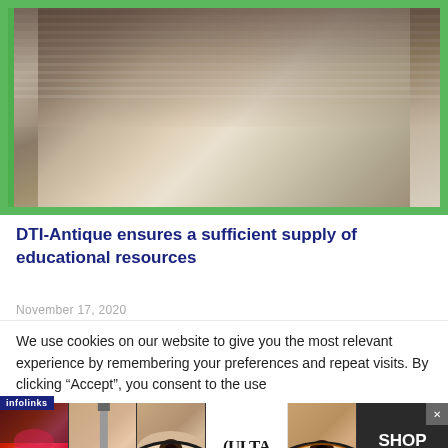[Figure (photo): Photograph of people sitting at a desk, appearing to review documents, with a green-bordered frame overlay. Two individuals visible, one wearing a striped shirt.]
DTI-Antique ensures a sufficient supply of educational resources
We use cookies on our website to give you the most relevant experience by remembering your preferences and repeat visits. By clicking “Accept”, you consent to the use
[Figure (infographic): Infolinks advertisement banner showing Ulta Beauty ad with makeup imagery (lips, brush, eye makeup) and SHOP NOW call to action button.]